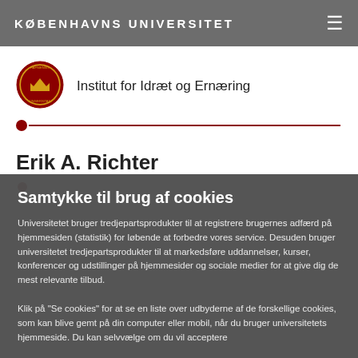KØBENHAVNS UNIVERSITET
[Figure (logo): Københavns Universitet seal/crest logo in red and gold]
Institut for Idræt og Ernæring
Erik A. Richter
Samtykke til brug af cookies
Universitetet bruger tredjepartsprodukter til at registrere brugernes adfærd på hjemmesiden (statistik) for løbende at forbedre vores service. Desuden bruger universitetet tredjepartsprodukter til at markedsføre uddannelser, kurser, konferencer og udstillinger på hjemmesider og sociale medier for at give dig de mest relevante tilbud.
Klik på "Se cookies" for at se en liste over udbyderne af de forskellige cookies, som kan blive gemt på din computer eller mobil, når du bruger universitetets hjemmeside. Du kan selvvælge om du vil acceptere